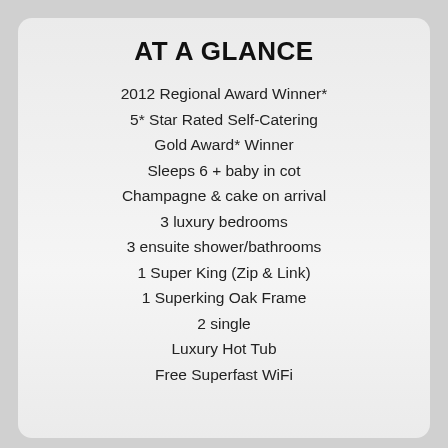AT A GLANCE
2012 Regional Award Winner*
5* Star Rated Self-Catering
Gold Award* Winner
Sleeps 6 + baby in cot
Champagne & cake on arrival
3 luxury bedrooms
3 ensuite shower/bathrooms
1 Super King (Zip & Link)
1 Superking Oak Frame
2 single
Luxury Hot Tub
Free Superfast WiFi